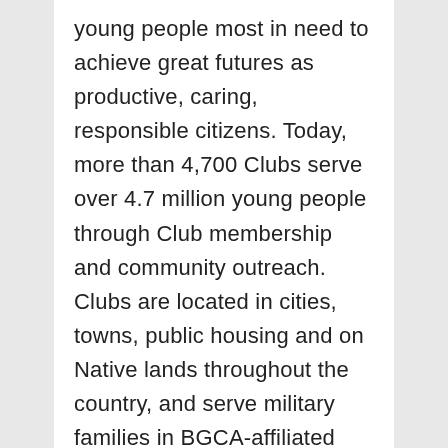young people most in need to achieve great futures as productive, caring, responsible citizens. Today, more than 4,700 Clubs serve over 4.7 million young people through Club membership and community outreach. Clubs are located in cities, towns, public housing and on Native lands throughout the country, and serve military families in BGCA-affiliated Youth Centers on U.S. military installations worldwide. They provide a safe place, caring adult mentors, fun and friendship, and high-impact youth development programs on a daily basis during critical non-school hours. Club programs promote academic success, good